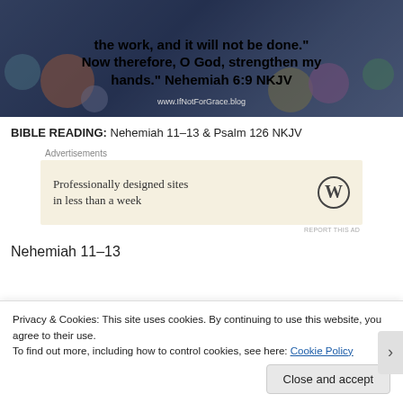[Figure (illustration): Decorative blog banner image with colorful bokeh circles on a dark blue/grey background. Bold black text reads: 'the work, and it will not be done.' Now therefore, O God, strengthen my hands.' Nehemiah 6:9 NKJV'. URL 'www.IfNotForGrace.blog' shown at bottom.]
BIBLE READING: Nehemiah 11–13 & Psalm 126 NKJV
Advertisements
[Figure (other): Advertisement box with beige background. Text: 'Professionally designed sites in less than a week'. WordPress logo on the right.]
REPORT THIS AD
Nehemiah 11–13
Privacy & Cookies: This site uses cookies. By continuing to use this website, you agree to their use.
To find out more, including how to control cookies, see here: Cookie Policy
Close and accept